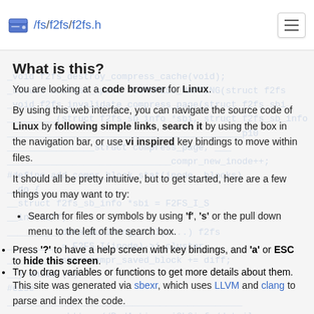/fs/f2fs/f2fs.h
What is this?
You are looking at a code browser for Linux.
By using this web interface, you can navigate the source code of Linux by following simple links, search it by using the box in the navigation bar, or use vi inspired key bindings to move within files.
It should all be pretty intuitive, but to get started, here are a few things you may want to try:
Search for files or symbols by using 'f', 's' or the pull down menu to the left of the search box.
Press '?' to have a help screen with key bindings, and 'a' or ESC to hide this screen.
Try to drag variables or functions to get more details about them.
This site was generated via sbexr, which uses LLVM and clang to parse and index the code.
sbexr is free software (as in "free speech"), under heavy development, show.sbexr.org and the Linux kernel source code